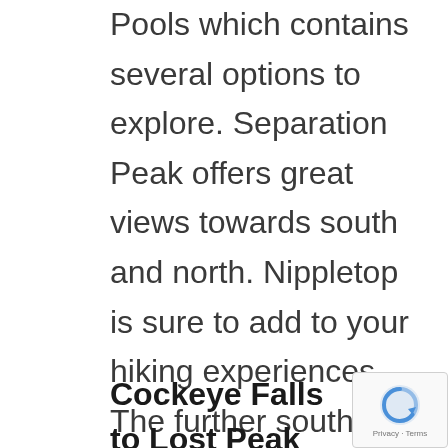Pools which contains several options to explore. Separation Peak offers great views towards south and north. Nippletop is sure to add to your hiking experiences. The further south you hike you’ll reach the beautiful “Lonely Peak”.
Cockeye Falls to Lost Peak and Crawford Wash